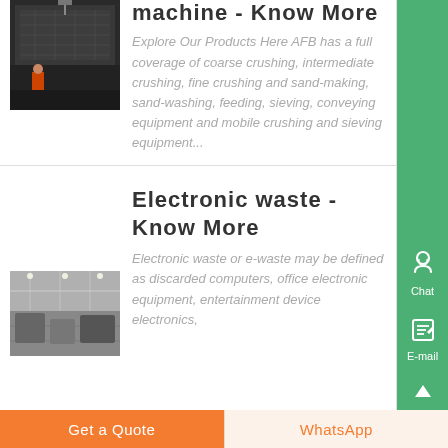machine - Know More
[Figure (photo): Industrial facility photo showing large dark machinery with a person in red standing nearby]
Explore Our Products Here AFB has a full coverage of coarse crushing, intermediate crushing, fine crushing and sand-making, sand-washing, feeding, sieving, conveying equipment and mobile crushing and sieving equipment...
Electronic waste - Know More
Electronic waste or e-waste may be defined as discarded computers, office electronic equipment, entertainment device electronics,
[Figure (photo): Industrial warehouse or factory interior photo]
Get a Quote
WhatsApp